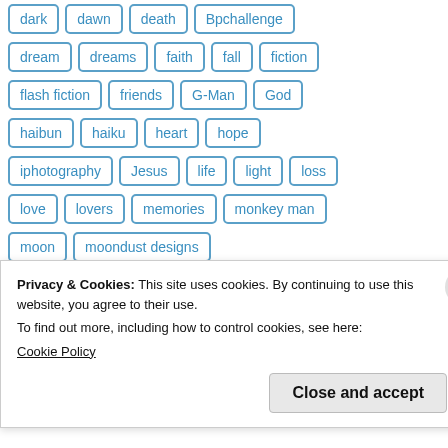dark, dawn, death, Bpchallenge (partial top row)
dream, dreams, faith, fall, fiction
flash fiction, friends, G-Man, God
haibun, haiku, heart, hope
iphotography, Jesus, life, light, loss
love, lovers, memories, monkey man
moon, moondust designs
moondustwriter, music, napowrimo (partial)
Privacy & Cookies: This site uses cookies. By continuing to use this website, you agree to their use.
To find out more, including how to control cookies, see here:
Cookie Policy
Close and accept